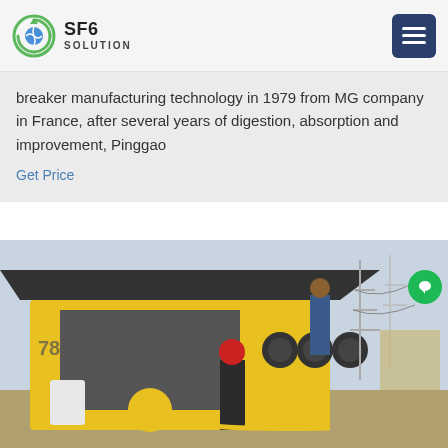SF6 SOLUTION
breaker manufacturing technology in 1979 from MG company in France, after several years of digestion, absorption and improvement, Pinggao
Get Price
[Figure (photo): Workers and technicians working on yellow SF6 gas handling equipment outside a high-voltage electrical substation. One worker in a red hard hat stands in the foreground, another climbs on the yellow machine. Power transmission towers visible in background.]